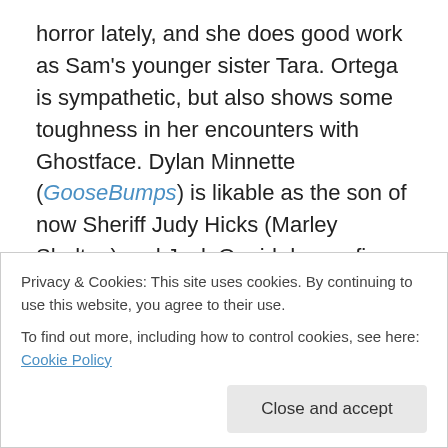horror lately, and she does good work as Sam's younger sister Tara. Ortega is sympathetic, but also shows some toughness in her encounters with Ghostface. Dylan Minnette (GooseBumps) is likable as the son of now Sheriff Judy Hicks (Marley Shelton) and Jack Quaid does a fine job as Sam's boyfriend Richie. Rounding out the attractive young cast are Mikey Madison as Amber, Jasmin Savoy Brown and Mason Gooding (Booksmart) as siblings Mindy and Chad and Sonia Ammar as Chad's girlfriend Liv. A likable cast who deserved a stronger script and better movie.
Privacy & Cookies: This site uses cookies. By continuing to use this website, you agree to their use. To find out more, including how to control cookies, see here: Cookie Policy
Overall, this new Scream neither refreshes the franchise